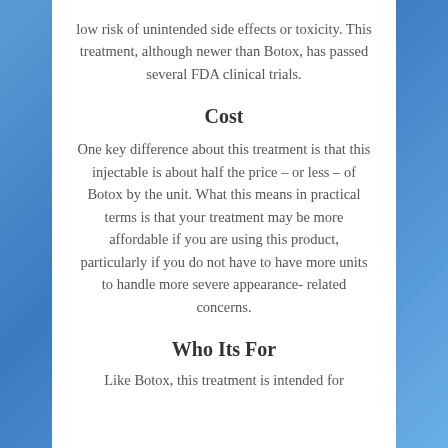low risk of unintended side effects or toxicity. This treatment, although newer than Botox, has passed several FDA clinical trials.
Cost
One key difference about this treatment is that this injectable is about half the price – or less – of Botox by the unit. What this means in practical terms is that your treatment may be more affordable if you are using this product, particularly if you do not have to have more units to handle more severe appearance-related concerns.
Who Its For
Like Botox, this treatment is intended for